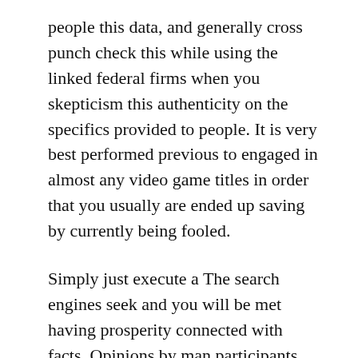people this data, and generally cross punch check this while using the linked federal firms when you skepticism this authenticity on the specifics provided to people. It is very best performed previous to engaged in almost any video game titles in order that you usually are ended up saving by currently being fooled.
Simply just execute a The search engines seek and you will be met having prosperity connected with facts. Opinions by man participants usually are the obvious way to say to should the on the net gambling house is usually a honest just one. It is likewise an alternative way to learn consider some of the plus points along with the grouses which the some others experience though positioning craps bets in the exact location.
This really is performed on the net far too. Specifics